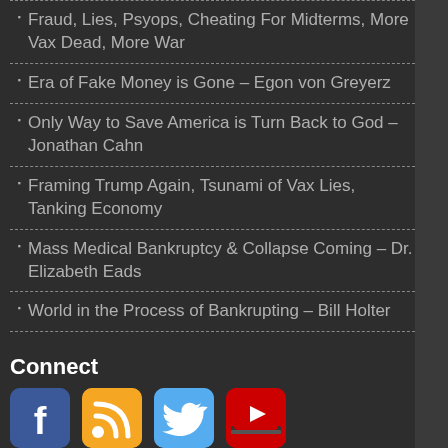Fraud, Lies, Psyops, Cheating For Midterms, More Vax Dead, More War
Era of Fake Money is Gone – Egon von Greyerz
Only Way to Save America is Turn Back to God – Jonathan Cahn
Framing Trump Again, Tsunami of Vax Lies, Tanking Economy
Mass Medical Bankruptcy & Collapse Coming – Dr. Elizabeth Eads
World in the Process of Bankrupting – Bill Holter
Connect
[Figure (other): Social media icons: Facebook, RSS feed, Twitter, YouTube]